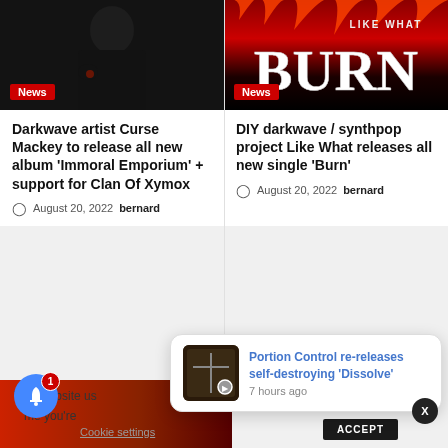[Figure (photo): Photo of a darkwave artist (Curse Mackey) in dark clothing, with red tones, News badge overlay]
[Figure (photo): Album art for 'Burn' by Like What, showing large white BURN text on dark red/black background, News badge overlay]
Darkwave artist Curse Mackey to release all new album 'Immoral Emporium' + support for Clan Of Xymox
August 20, 2022  bernard
DIY darkwave / synthpop project Like What releases all new single 'Burn'
August 20, 2022  bernard
[Figure (photo): Partial image with red gradient, bottom of page left column]
This website u... me you're...
Portion Control re-releases self-destroying 'Dissolve'
7 hours ago
Cookie settings   ACCEPT